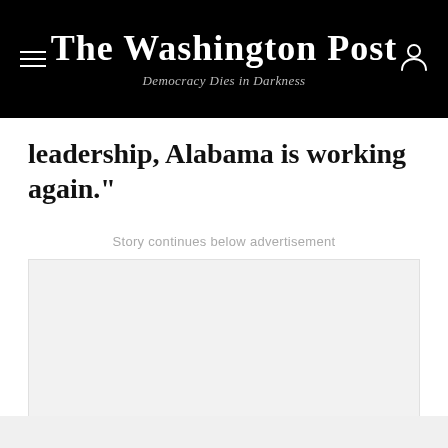The Washington Post — Democracy Dies in Darkness
leadership, Alabama is working again.”
Story continues below advertisement
[Figure (other): Advertisement placeholder box with light gray background]